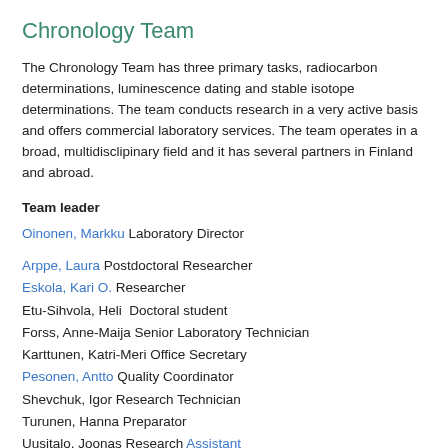Chronology Team
The Chronology Team has three primary tasks, radiocarbon determinations, luminescence dating and stable isotope determinations. The team conducts research in a very active basis and offers commercial laboratory services. The team operates in a broad, multidisclipinary field and it has several partners in Finland and abroad.
Team leader
Oinonen, Markku Laboratory Director
Arppe, Laura Postdoctoral Researcher
Eskola, Kari O. Researcher
Etu-Sihvola, Heli Doctoral student
Forss, Anne-Maija Senior Laboratory Technician
Karttunen, Katri-Meri Office Secretary
Pesonen, Antto Quality Coordinator
Shevchuk, Igor Research Technician
Turunen, Hanna Preparator
Uusitalo, Joonas Research Assistant